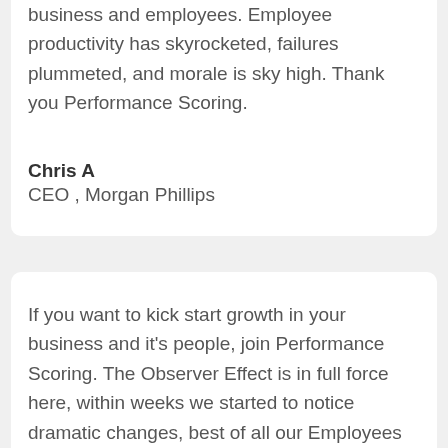business and employees. Employee productivity has skyrocketed, failures plummeted, and morale is sky high. Thank you Performance Scoring.
Chris A
CEO , Morgan Phillips
If you want to kick start growth in your business and it's people, join Performance Scoring. The Observer Effect is in full force here, within weeks we started to notice dramatic changes, best of all our Employees have come to rely on